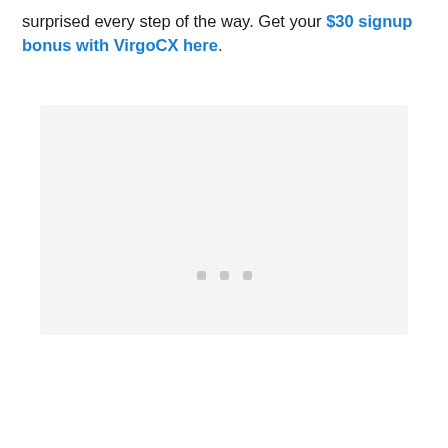surprised every step of the way. Get your $30 signup bonus with VirgoCX here.
[Figure (screenshot): Loading placeholder area with three small gray square dots centered in a light gray rounded rectangle box]